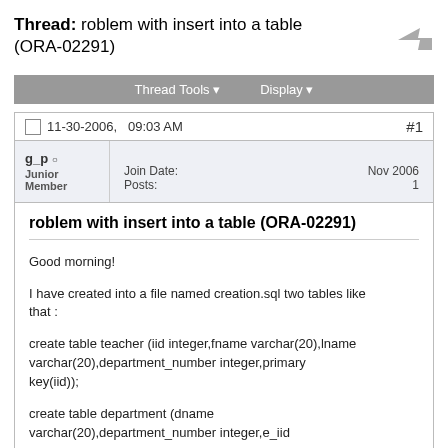Thread: roblem with insert into a table (ORA-02291)
Thread Tools  Display
11-30-2006,   09:03 AM  #1
g_p
Junior Member
Join Date: Nov 2006
Posts: 1
roblem with insert into a table (ORA-02291)
Good morning!

I have created into a file named creation.sql two tables like
that :

create table teacher (iid integer,fname varchar(20),lname varchar(20),department_number integer,primary key(iid));

create table department (dname varchar(20),department_number integer,e_iid